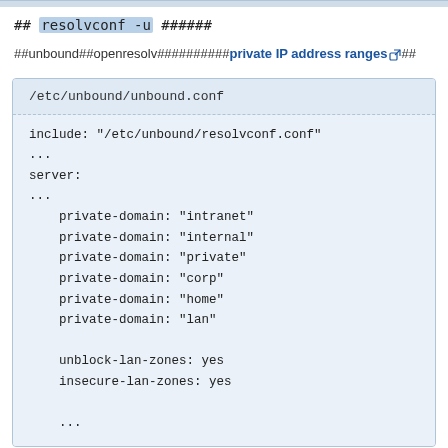## resolvconf -u ######
##unbound##openresolv##########private IP address ranges##
/etc/unbound/unbound.conf
include: "/etc/unbound/resolvconf.conf"
...
server:
...
    private-domain: "intranet"
    private-domain: "internal"
    private-domain: "private"
    private-domain: "corp"
    private-domain: "home"
    private-domain: "lan"

    unblock-lan-zones: yes
    insecure-lan-zones: yes

    ...
##########DNS######DNSSEC[3]##